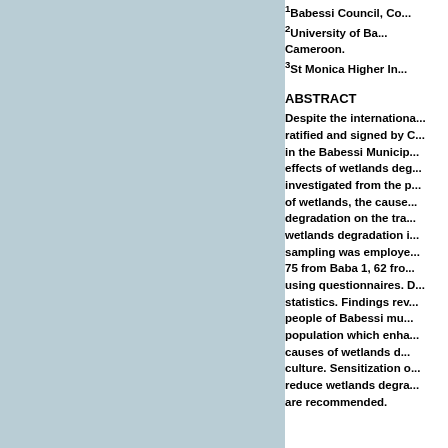1Babessi Council, Co... 2University of Ba... Cameroon. 3St Monica Higher In...
ABSTRACT
Despite the internationa... ratified and signed by C... in the Babessi Municip... effects of wetlands deg... investigated from the p... of wetlands, the cause... degradation on the tra... wetlands degradation i... sampling was employe... 75 from Baba 1, 62 fro... using questionnaires. D... statistics. Findings rev... people of Babessi mu... population which enha... causes of wetlands c... culture. Sensitization o... reduce wetlands degra... are recommended.